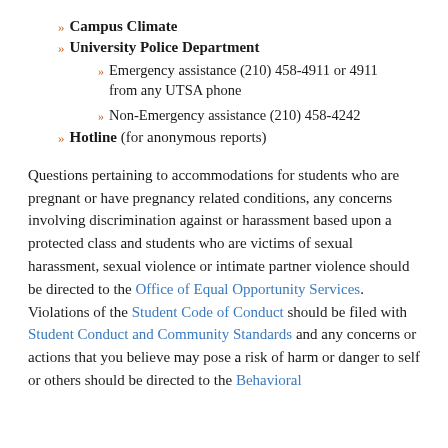Campus Climate
University Police Department
Emergency assistance (210) 458-4911 or 4911 from any UTSA phone
Non-Emergency assistance (210) 458-4242
Hotline (for anonymous reports)
Questions pertaining to accommodations for students who are pregnant or have pregnancy related conditions, any concerns involving discrimination against or harassment based upon a protected class and students who are victims of sexual harassment, sexual violence or intimate partner violence should be directed to the Office of Equal Opportunity Services. Violations of the Student Code of Conduct should be filed with Student Conduct and Community Standards and any concerns or actions that you believe may pose a risk of harm or danger to self or others should be directed to the Behavioral